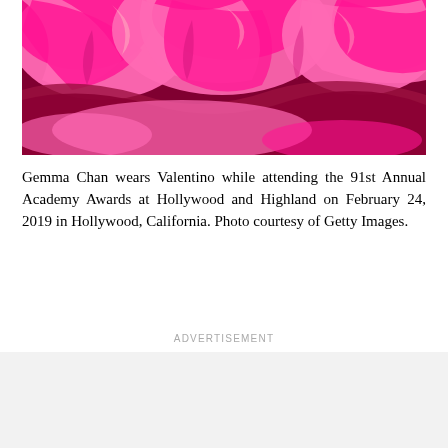[Figure (photo): Close-up photo of a voluminous hot pink/magenta ruffled dress fabric against a dark red carpet background. The image shows the lower portion of the dress with dramatic fabric draping and gathering.]
Gemma Chan wears Valentino while attending the 91st Annual Academy Awards at Hollywood and Highland on February 24, 2019 in Hollywood, California. Photo courtesy of Getty Images.
ADVERTISEMENT